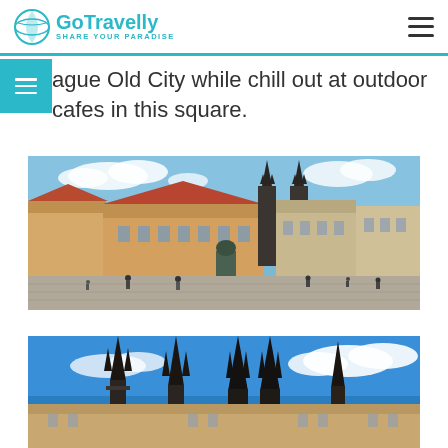Go Travelly — Share Your Paradise
ague Old City while chill out at outdoor cafes in this square.
[Figure (photo): Prague Old Town Square panorama showing historic buildings with red rooftops, Gothic Týn Church with twin spires, bronze statue, and cobblestone square with tourists.]
[Figure (photo): Prague Old Town Square close-up showing Gothic spires of the Church of Our Lady before Týn against a blue sky with clouds.]